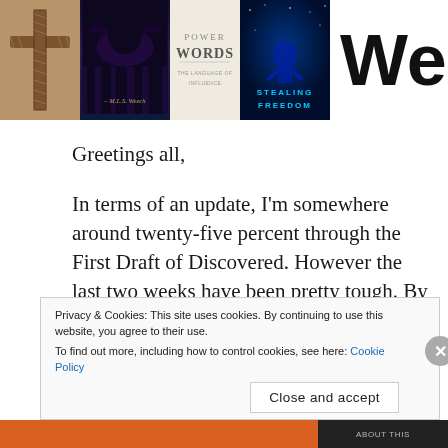[Figure (photo): Strip of book covers at top including a cross/rope cover, dark fantasy cover by M.L.S. Weech, 'Power Words' cover, sci-fi 'Stealing Freedom' cover, and partial large 'We' text on white background]
Greetings all,
In terms of an update, I'm somewhere around twenty-five percent through the First Draft of Discovered. However the last two weeks have been pretty tough. By God's grace, I've been protected from COVID, but I've wanted to support my wife and kids. This means that my writing and marketing time is what it's always been, but the
Privacy & Cookies: This site uses cookies. By continuing to use this website, you agree to their use.
To find out more, including how to control cookies, see here: Cookie Policy
Close and accept